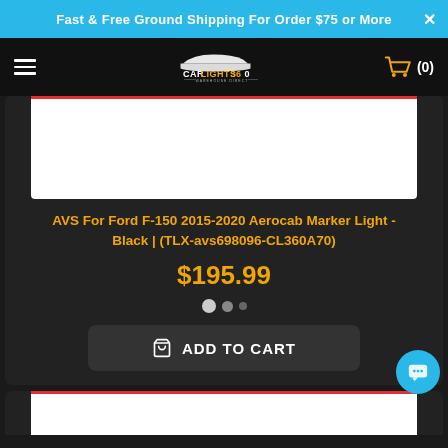Fast & Free Ground Shipping For Order $75 or More
[Figure (logo): CarLights360 Warehouse Direct logo on black navbar with hamburger menu and cart icon showing (0)]
[Figure (photo): Product image area (white background) for AVS Aerocab Marker Light]
AVS For Ford F-150 2015-2020 Aerocab Marker Light - Black | (TLX-avs698096-CL360A70)
$195.99
[Figure (other): Image carousel dot indicators: one active large dot, one medium dot, one small dot]
ADD TO CART
[Figure (photo): Partial second product card with white image area visible at bottom of page]